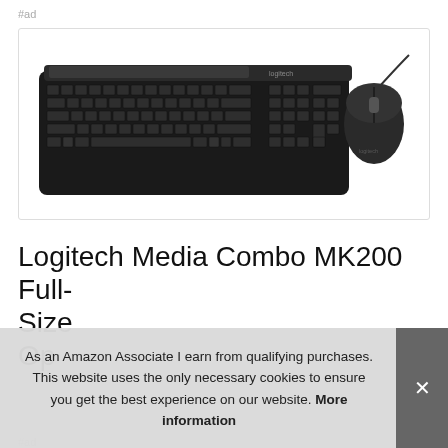#ad
[Figure (photo): Product photo of Logitech MK200 keyboard and mouse combo. A full-size black wired keyboard with Logitech branding and a row of media keys at the top, alongside a small wired optical mouse, both shown on a white background inside a bordered box.]
Logitech Media Combo MK200 Full-Size Keyboard and High Defini... Op...
#ad
As an Amazon Associate I earn from qualifying purchases. This website uses the only necessary cookies to ensure you get the best experience on our website. More information